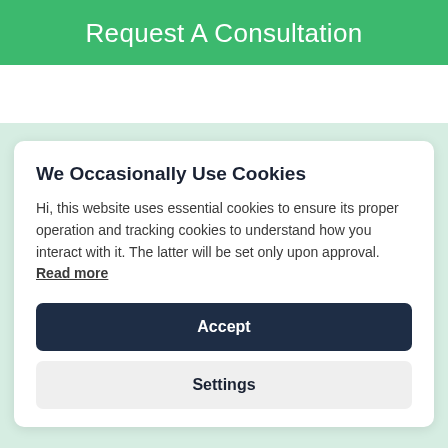Request A Consultation
We Occasionally Use Cookies
Hi, this website uses essential cookies to ensure its proper operation and tracking cookies to understand how you interact with it. The latter will be set only upon approval. Read more
Accept
Settings